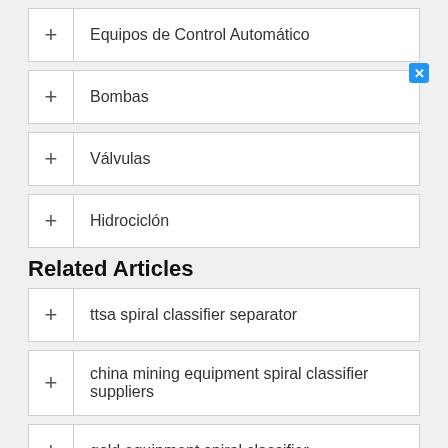+ Equipos de Control Automático
+ Bombas
+ Válvulas
+ Hidrociclón
Related Articles
+ ttsa spiral classifier separator
+ china mining equipment spiral classifier suppliers
+ gold equipment spiral classifier
+ china new product sand spiral classifier
+ spiral chute for gold washing plant